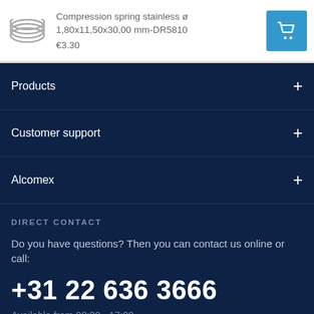Compression spring stainless ø 1,80x11,50x30,00 mm-DR5810
€3.30
Products
Customer support
Alcomex
DIRECT CONTACT
Do you have questions? Then you can contact us online or call:
+31 22 636 3666
Available from 08:30 - 17:00